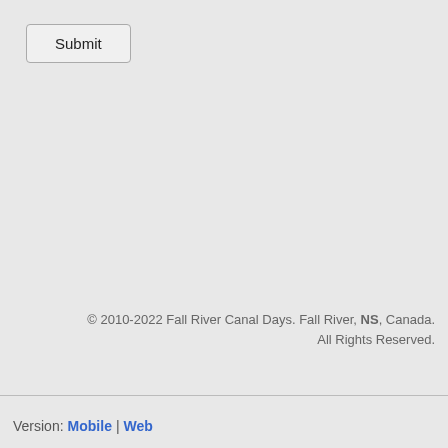Submit
© 2010-2022 Fall River Canal Days. Fall River, NS, Canada. All Rights Reserved.
Version: Mobile | Web